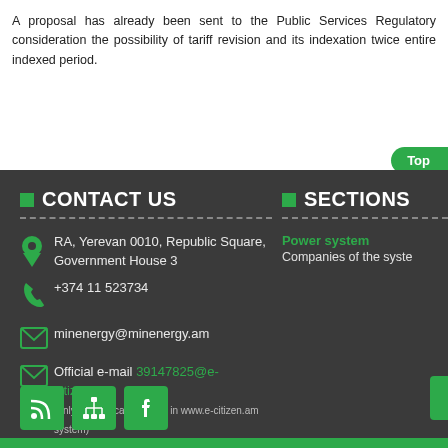A proposal has already been sent to the Public Services Regulatory consideration the possibility of tariff revision and its indexation twice entire indexed period.
CONTACT US
SECTIONS
RA, Yerevan 0010, Republic Square, Government House 3
+374 11 523734
minenergy@minenergy.am
Official e-mail 39147825@e-citizen.am (only for notifications sent in www.e-citizen.am system)
Power system
Companies of the system